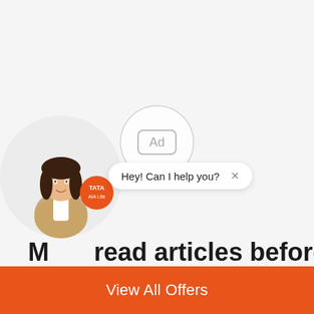[Figure (other): Ad placeholder circle with 'Ad' label in center on light gray background]
[Figure (illustration): Chatbot avatar - cartoon woman with dark hair in business attire, overlaid with circular Tata logo badge]
Hey! Can I help you? ×
M...read articles before buying Tata
View All Offers